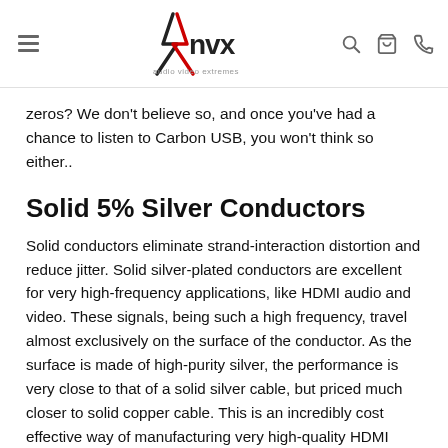AVX audio video extremes navigation header
zeros? We don't believe so, and once you've had a chance to listen to Carbon USB, you won't think so either..
Solid 5% Silver Conductors
Solid conductors eliminate strand-interaction distortion and reduce jitter. Solid silver-plated conductors are excellent for very high-frequency applications, like HDMI audio and video. These signals, being such a high frequency, travel almost exclusively on the surface of the conductor. As the surface is made of high-purity silver, the performance is very close to that of a solid silver cable, but priced much closer to solid copper cable. This is an incredibly cost effective way of manufacturing very high-quality HDMI cables.